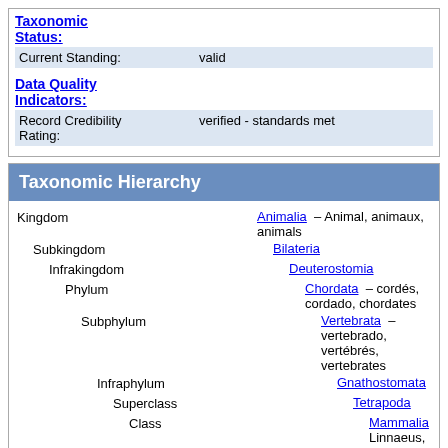Taxonomic Status:
| Field | Value |
| --- | --- |
| Current Standing: | valid |
Data Quality Indicators:
| Field | Value |
| --- | --- |
| Record Credibility Rating: | verified - standards met |
Taxonomic Hierarchy
| Rank | Name |
| --- | --- |
| Kingdom | Animalia – Animal, animaux, animals |
| Subkingdom | Bilateria |
| Infrakingdom | Deuterostomia |
| Phylum | Chordata – cordés, cordado, chordates |
| Subphylum | Vertebrata – vertebrado, vertébrés, vertebrates |
| Infraphylum | Gnathostomata |
| Superclass | Tetrapoda |
| Class | Mammalia Linnaeus, 1758 – mammifères, mamifero, mammals |
| Subclass | Theria Parker and Haswell, 1897 |
| Infraclass | Eutheria Gill, 1872 |
| Order | Soricomorpha Gregory, 1910 |
| Family | Soricidae G. Fischer, 1814 – shrews |
| Subfamily | Soricinae G. Fischer, 1814 |
| Tribe | Blarinini Kretzoi, 1965 |
| Genus | Blarina Gray, 1838 – American |